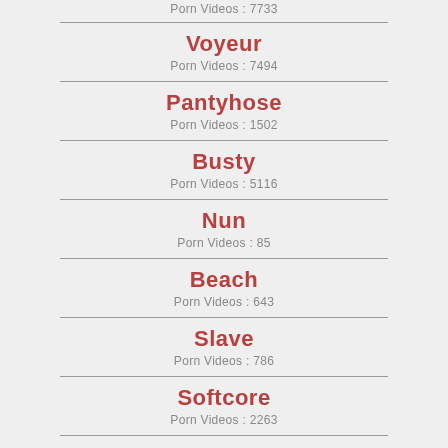Porn Videos : 7733
Voyeur
Porn Videos : 7494
Pantyhose
Porn Videos : 1502
Busty
Porn Videos : 5116
Nun
Porn Videos : 85
Beach
Porn Videos : 643
Slave
Porn Videos : 786
Softcore
Porn Videos : 2263
Latin
Porn Videos : 6396